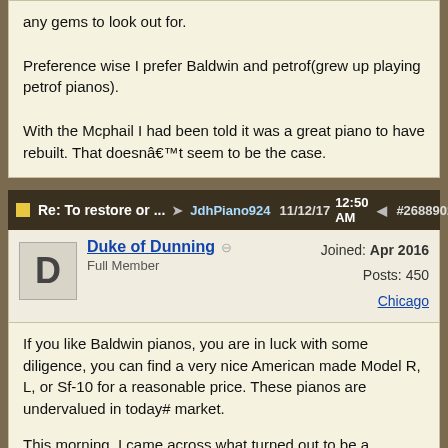any gems to look out for.

Preference wise I prefer Baldwin and petrof(grew up playing petrof pianos).

With the Mcphail I had been told it was a great piano to have rebuilt. That doesnât seem to be the case.
Re: To restore or ... ➜ JdhPiano924  11/12/17 12:50 AM  #2688902
Duke of Dunning  ⊖  Joined: Apr 2016  Full Member  Posts: 450  Chicago
If you like Baldwin pianos, you are in luck with some diligence, you can find a very nice American made Model R, L, or Sf-10 for a reasonable price. These pianos are undervalued in today# market.

This morning, I came across what turned out to be a Baldwin Model F (7â) sitting in the corner of a hall. This was the predecessor to the SF-10, which was introduced in 1969. The piano sounded decent but looked to be in need of work. I could not look inside because both lid hinges had been ripped out (NOTE: always check before attempting to raise the lid). I do